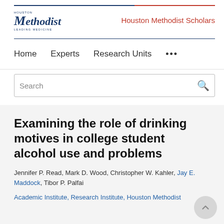Houston Methodist | Houston Methodist Scholars
Home   Experts   Research Units   ...
Search
Examining the role of drinking motives in college student alcohol use and problems
Jennifer P. Read, Mark D. Wood, Christopher W. Kahler, Jay E. Maddock, Tibor P. Palfai
Academic Institute, Research Institute, Houston Methodist